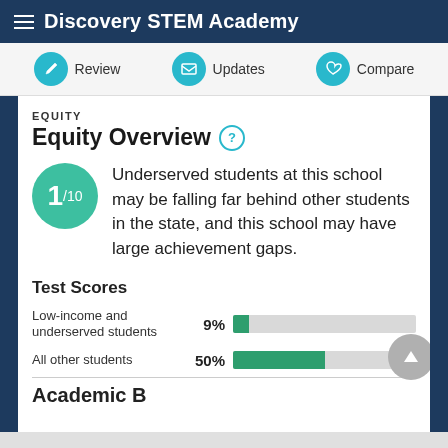Discovery STEM Academy
Review   Updates   Compare
EQUITY
Equity Overview
Underserved students at this school may be falling far behind other students in the state, and this school may have large achievement gaps.
Test Scores
[Figure (bar-chart): Test Scores]
Academic B…